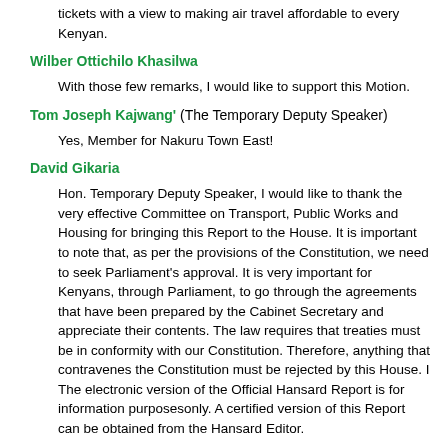tickets with a view to making air travel affordable to every Kenyan.
Wilber Ottichilo Khasilwa
With those few remarks, I would like to support this Motion.
Tom Joseph Kajwang' (The Temporary Deputy Speaker)
Yes, Member for Nakuru Town East!
David Gikaria
Hon. Temporary Deputy Speaker, I would like to thank the very effective Committee on Transport, Public Works and Housing for bringing this Report to the House. It is important to note that, as per the provisions of the Constitution, we need to seek Parliament's approval. It is very important for Kenyans, through Parliament, to go through the agreements that have been prepared by the Cabinet Secretary and appreciate their contents. The law requires that treaties must be in conformity with our Constitution. Therefore, anything that contravenes the Constitution must be rejected by this House. I The electronic version of the Official Hansard Report is for information purposesonly. A certified version of this Report can be obtained from the Hansard Editor.